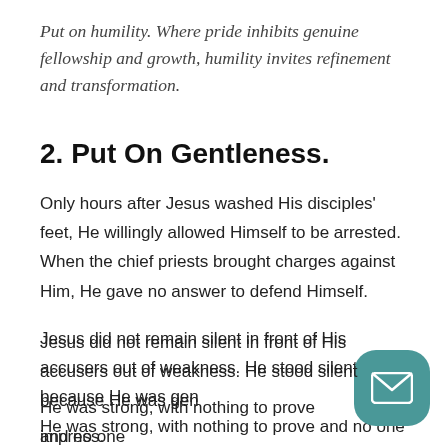Put on humility. Where pride inhibits genuine fellowship and growth, humility invites refinement and transformation.
2. Put On Gentleness.
Only hours after Jesus washed His disciples' feet, He willingly allowed Himself to be arrested. When the chief priests brought charges against Him, He gave no answer to defend Himself.
Jesus did not remain silent in front of His accusers out of weakness. He stood silent because He was gentle. He was strong, with nothing to prove and no one to impress.